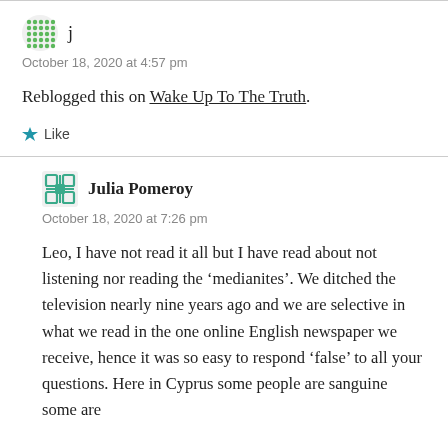j
October 18, 2020 at 4:57 pm
Reblogged this on Wake Up To The Truth.
Like
Julia Pomeroy
October 18, 2020 at 7:26 pm
Leo, I have not read it all but I have read about not listening nor reading the ‘medianites’. We ditched the television nearly nine years ago and we are selective in what we read in the one online English newspaper we receive, hence it was so easy to respond ‘false’ to all your questions. Here in Cyprus some people are sanguine some are